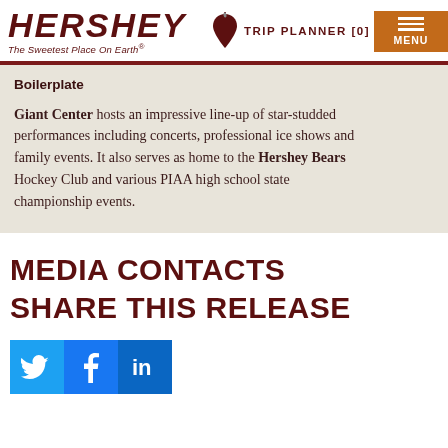HERSHEY The Sweetest Place On Earth®
TRIP PLANNER [0]
Boilerplate
Giant Center hosts an impressive line-up of star-studded performances including concerts, professional ice shows and family events. It also serves as home to the Hershey Bears Hockey Club and various PIAA high school state championship events.
MEDIA CONTACTS
SHARE THIS RELEASE
[Figure (logo): Social media icons: Twitter (blue bird), Facebook (white f on blue), LinkedIn (white 'in' on blue)]